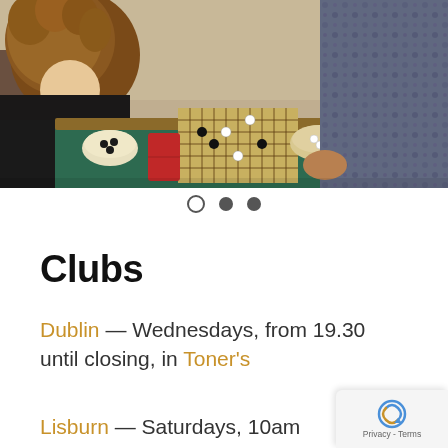[Figure (photo): Two people sitting at a green-covered table playing a board game (Go or similar), with bowls of stones and a red item on the table. Background shows a room with shelving.]
○ • •
Clubs
Dublin — Wednesdays, from 19.30 until closing, in Toner's
Lisburn — Saturdays, 10am Facebook